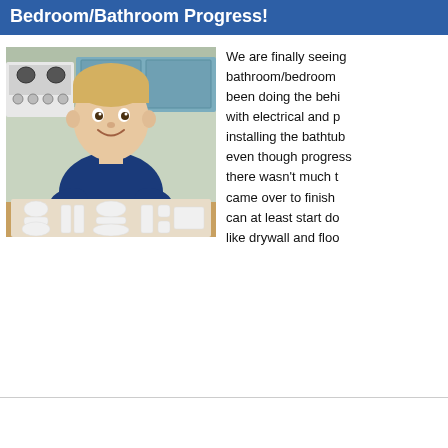Bedroom/Bathroom Progress!
[Figure (photo): A young blonde boy smiling, wearing a navy blue t-shirt, sitting at a kitchen table with a tray of white clay or dough shapes arranged in front of him. A white stove and blue kitchen cabinets are visible in the background.]
We are finally seeing bathroom/bedroom been doing the behind with electrical and p installing the bathtub even though progress there wasn't much to came over to finish can at least start do like drywall and floo